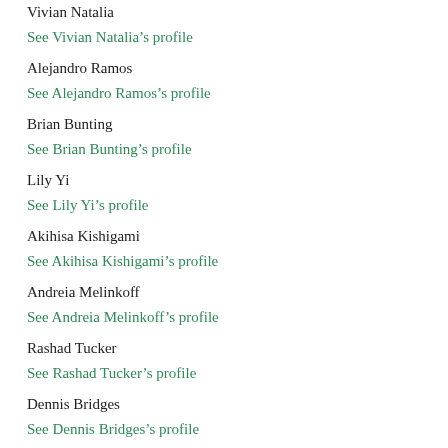Vivian Natalia
See Vivian Natalia’s profile
Alejandro Ramos
See Alejandro Ramos’s profile
Brian Bunting
See Brian Bunting’s profile
Lily Yi
See Lily Yi’s profile
Akihisa Kishigami
See Akihisa Kishigami’s profile
Andreia Melinkoff
See Andreia Melinkoff’s profile
Rashad Tucker
See Rashad Tucker’s profile
Dennis Bridges
See Dennis Bridges’s profile